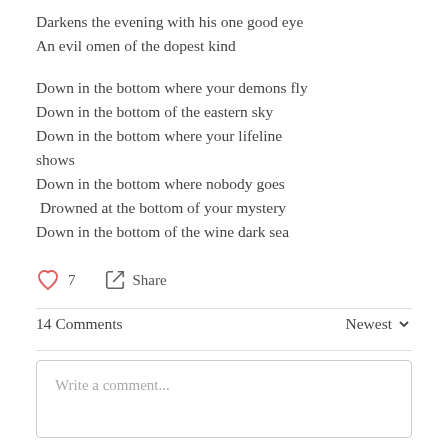Darkens the evening with his one good eye
An evil omen of the dopest kind

Down in the bottom where your demons fly
Down in the bottom of the eastern sky
Down in the bottom where your lifeline shows
Down in the bottom where nobody goes
 Drowned at the bottom of your mystery
Down in the bottom of the wine dark sea
♡ 7   ↪ Share
14 Comments
Newest ∨
Write a comment...